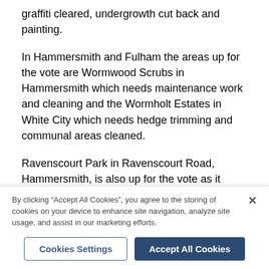graffiti cleared, undergrowth cut back and painting.
In Hammersmith and Fulham the areas up for the vote are Wormwood Scrubs in Hammersmith which needs maintenance work and cleaning and the Wormholt Estates in White City which needs hedge trimming and communal areas cleaned.
Ravenscourt Park in Ravenscourt Road, Hammersmith, is also up for the vote as it needs a total overhaul including litter picking, foliage clearing and general maintenance as is St. Paul's Open Space and St. Mary's Church Yard in Hammersmith Road, Hammersmith, which needs flowers planted, ground
By clicking “Accept All Cookies”, you agree to the storing of cookies on your device to enhance site navigation, analyze site usage, and assist in our marketing efforts.